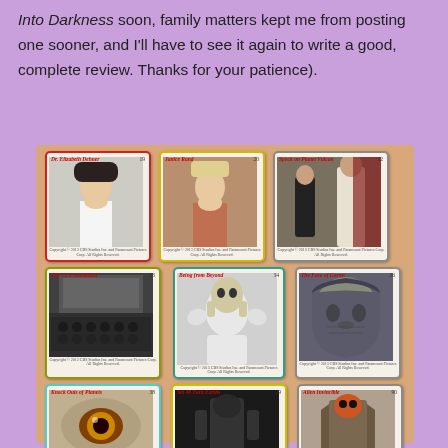Into Darkness soon, family matters kept me from posting one sooner, and I'll have to see it again to write a good, complete review. Thanks for your patience).
[Figure (photo): A grid of Star Trek trading cards arranged on a tan/peach background, showing characters and scenes from Star Trek. Top row: Dr. Elizabeth Dehner (card with red border), Janice Rand (card with yellow border), Spock on Planet Vulcan (card with gray border). Middle row: The UFP Assembled (card with olive border), Being from Beyond (card with teal border), The Face of Gornn (card with gray border). Bottom row: Knock Outs of Planets (card with cyan border), Set 48 Twin Earths (card with yellow border), Alien Invincible (card with gray border).]